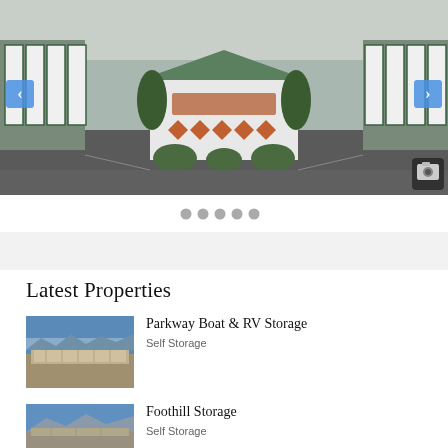[Figure (photo): Aerial or ground-level photograph of a self-storage facility with green-trimmed white storage unit doors, a central office building with decorative diamond shapes and landscaping, viewed from overhead angle in winter/overcast conditions. Navigation arrows on left and right, camera icon bottom right.]
[Figure (other): Five gray pagination dots below the slideshow image]
Latest Properties
[Figure (photo): Thumbnail photo of Parkway Boat & RV Storage facility, aerial view showing desert/arid landscape and storage structures with blue sky]
Parkway Boat & RV Storage
Self Storage
[Figure (photo): Thumbnail photo of Foothill Storage facility, aerial view of storage buildings with mountains/hills in background]
Foothill Storage
Self Storage